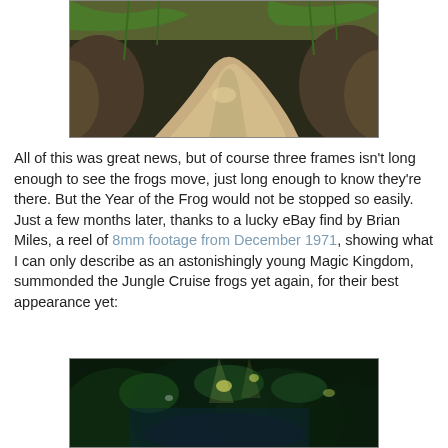[Figure (photo): A tropical jungle path or stream bed winding between large rocks and lush green foliage, viewed from above, likely from the Jungle Cruise at Magic Kingdom.]
All of this was great news, but of course three frames isn't long enough to see the frogs move, just long enough to know they're there. But the Year of the Frog would not be stopped so easily. Just a few months later, thanks to a lucky eBay find by Brian Miles, a reel of 8mm footage from December 1971, showing what I can only describe as an astonishingly young Magic Kingdom, summonded the Jungle Cruise frogs yet again, for their best appearance yet:
[Figure (photo): A dark, dense jungle scene with lush green tropical foliage and dappled light, likely from the Jungle Cruise at Magic Kingdom circa December 1971.]